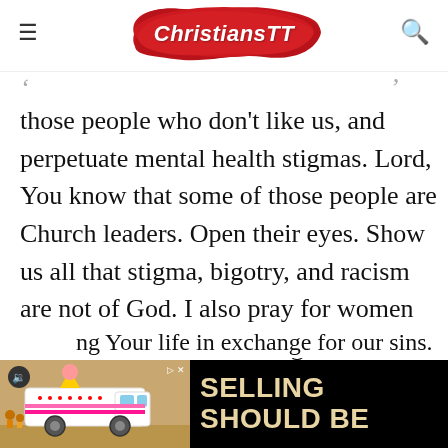ChristiansTT
those people who don't like us, and perpetuate mental health stigmas. Lord, You know that some of those people are Church leaders. Open their eyes. Show us all that stigma, bigotry, and racism are not of God. I also pray for women in the church who hold anger towards men. This too is not of God. Lord, I thank for
ng Your life in exchange for our sins.
[Figure (screenshot): Advertisement banner showing an ice cream truck illustration on left and text 'SELLING SHOULD BE' on black background on right]